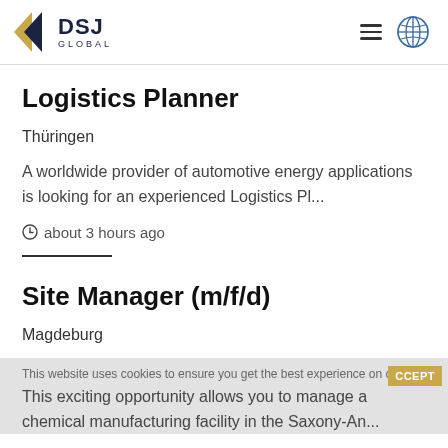DSJ GLOBAL
Logistics Planner
Thüringen
A worldwide provider of automotive energy applications is looking for an experienced Logistics Pl...
about 3 hours ago
Site Manager (m/f/d)
Magdeburg
This exciting opportunity allows you to manage a chemical manufacturing facility in the Saxony-An...